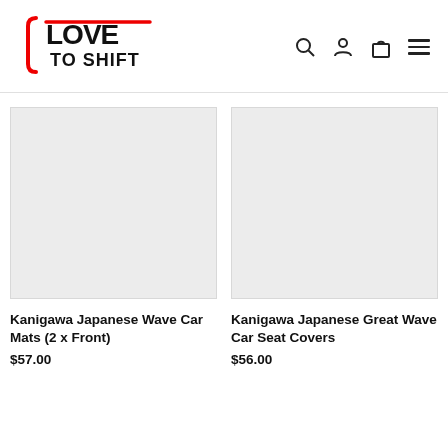[Figure (logo): Love To Shift logo with red bracket accent]
Kanigawa Japanese Wave Car Mats (2 x Front)
$57.00
Kanigawa Japanese Great Wave Car Seat Covers
$56.00